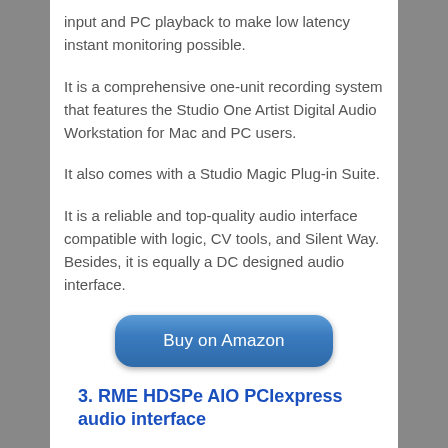input and PC playback to make low latency instant monitoring possible.
It is a comprehensive one-unit recording system that features the Studio One Artist Digital Audio Workstation for Mac and PC users.
It also comes with a Studio Magic Plug-in Suite.
It is a reliable and top-quality audio interface compatible with logic, CV tools, and Silent Way. Besides, it is equally a DC designed audio interface.
[Figure (other): Blue rounded rectangle button labeled 'Buy on Amazon']
3. RME HDSPe AIO PCIexpress audio interface